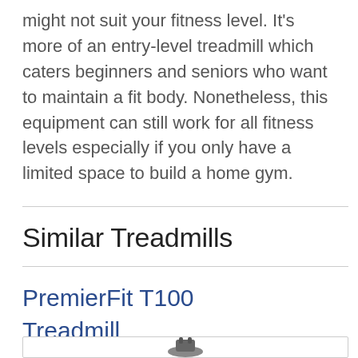might not suit your fitness level. It's more of an entry-level treadmill which caters beginners and seniors who want to maintain a fit body. Nonetheless, this equipment can still work for all fitness levels especially if you only have a limited space to build a home gym.
Similar Treadmills
PremierFit T100 Treadmill
[Figure (photo): Product image of PremierFit T100 Treadmill, partially visible at bottom of page]